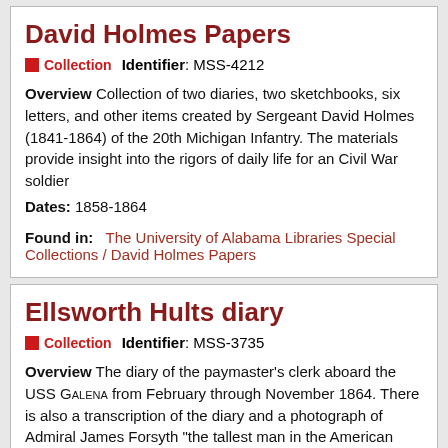David Holmes Papers
Collection   Identifier: MSS-4212
Overview Collection of two diaries, two sketchbooks, six letters, and other items created by Sergeant David Holmes (1841-1864) of the 20th Michigan Infantry. The materials provide insight into the rigors of daily life for an Civil War soldier
Dates: 1858-1864
Found in:  The University of Alabama Libraries Special Collections / David Holmes Papers
Ellsworth Hults diary
Collection   Identifier: MSS-3735
Overview The diary of the paymaster's clerk aboard the USS Galena from February through November 1864. There is also a transcription of the diary and a photograph of Admiral James Forsyth "the tallest man in the American Navy, 6 ft 6."
Dates: 1864 February - November